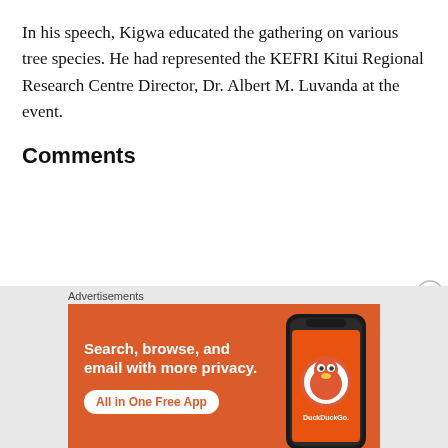In his speech, Kigwa educated the gathering on various tree species. He had represented the KEFRI Kitui Regional Research Centre Director, Dr. Albert M. Luvanda at the event.
Comments
Advertisements
[Figure (infographic): DuckDuckGo advertisement banner with orange background. Text reads 'Search, browse, and email with more privacy. All in One Free App' with a phone displaying the DuckDuckGo app logo.]